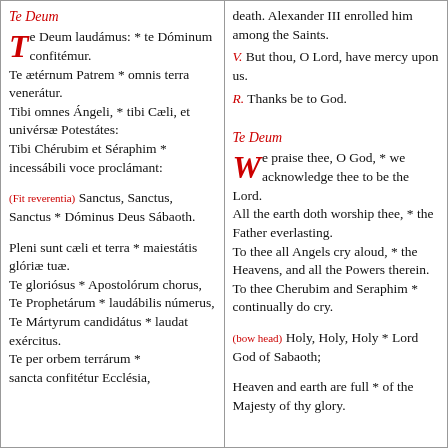Te Deum
Te Deum laudámus: * te Dóminum confitémur. Te ætérnum Patrem * omnis terra venerátur. Tibi omnes Ángeli, * tibi Cæli, et univérsæ Potestátes: Tibi Chérubim et Séraphim * incessábili voce proclámant:
(Fit reverentia) Sanctus, Sanctus, Sanctus * Dóminus Deus Sábaoth.
Pleni sunt cæli et terra * maiestátis glóriæ tuæ. Te gloriósus * Apostolórum chorus, Te Prophetárum * laudábilis númerus, Te Mártyrum candidátus * laudat exércitus. Te per orbem terrárum * sancta confitétur Ecclésia,
death. Alexander III enrolled him among the Saints.
V. But thou, O Lord, have mercy upon us.
R. Thanks be to God.
Te Deum
We praise thee, O God, * we acknowledge thee to be the Lord. All the earth doth worship thee, * the Father everlasting. To thee all Angels cry aloud, * the Heavens, and all the Powers therein. To thee Cherubim and Seraphim * continually do cry.
(bow head) Holy, Holy, Holy * Lord God of Sabaoth;
Heaven and earth are full * of the Majesty of thy glory.